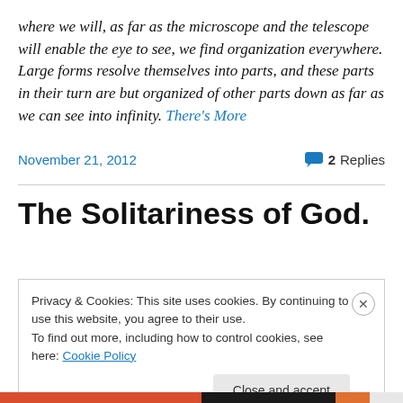where we will, as far as the microscope and the telescope will enable the eye to see, we find organization everywhere. Large forms resolve themselves into parts, and these parts in their turn are but organized of other parts down as far as we can see into infinity. There's More
November 21, 2012    2 Replies
The Solitariness of God.
Privacy & Cookies: This site uses cookies. By continuing to use this website, you agree to their use. To find out more, including how to control cookies, see here: Cookie Policy Close and accept